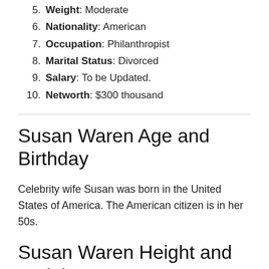5. Weight: Moderate
6. Nationality: American
7. Occupation: Philanthropist
8. Marital Status: Divorced
9. Salary: To be Updated.
10. Networth: $300 thousand
Susan Waren Age and Birthday
Celebrity wife Susan was born in the United States of America. The American citizen is in her 50s.
Susan Waren Height and Weight